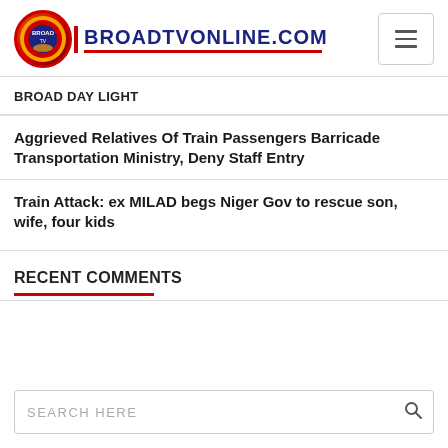BROADTVONLINE.COM
BROAD DAY LIGHT
Aggrieved Relatives Of Train Passengers Barricade Transportation Ministry, Deny Staff Entry
Train Attack: ex MILAD begs Niger Gov to rescue son, wife, four kids
RECENT COMMENTS
SEARCH HERE